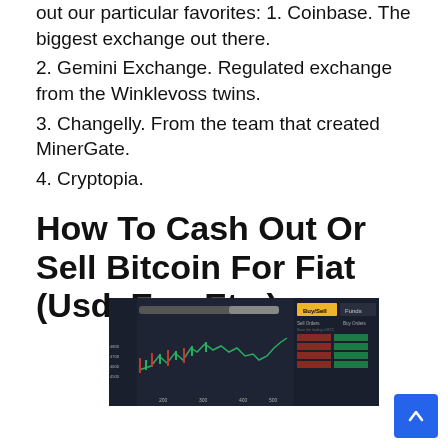out our particular favorites: 1. Coinbase. The biggest exchange out there.
2. Gemini Exchange. Regulated exchange from the Winklevoss twins.
3. Changelly. From the team that created MinerGate.
4. Cryptopia.
How To Cash Out Or Sell Bitcoin For Fiat (Usd, Eur, Etc )
[Figure (screenshot): Screenshot of a cryptocurrency trading platform interface showing a candlestick/line chart and order book with red and green rows, and a yellow Buy button]